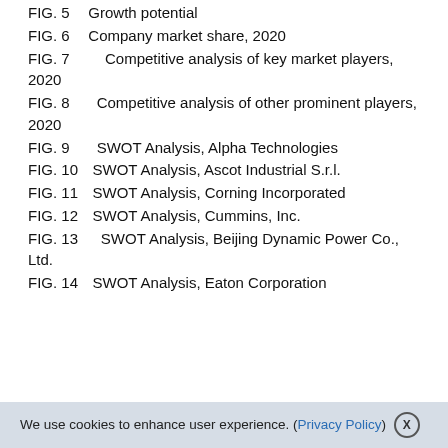FIG. 5   Growth potential
FIG. 6   Company market share, 2020
FIG. 7   Competitive analysis of key market players, 2020
FIG. 8   Competitive analysis of other prominent players, 2020
FIG. 9   SWOT Analysis, Alpha Technologies
FIG. 10   SWOT Analysis, Ascot Industrial S.r.l.
FIG. 11   SWOT Analysis, Corning Incorporated
FIG. 12   SWOT Analysis, Cummins, Inc.
FIG. 13   SWOT Analysis, Beijing Dynamic Power Co., Ltd.
FIG. 14   SWOT Analysis, Eaton Corporation
We use cookies to enhance user experience. (Privacy Policy)  X